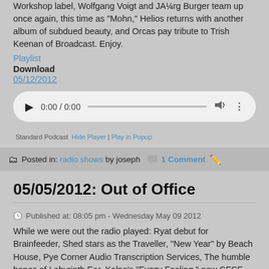Workshop label, Wolfgang Voigt and JA¼rg Burger team up once again, this time as “Mohn,” Helios returns with another album of subdued beauty, and Orcas pay tribute to Trish Keenan of Broadcast. Enjoy.
Playlist
Download
05/12/2012
[Figure (other): Audio player widget showing 0:00 / 0:00 with play button, progress bar, volume, and more options]
Standard Podcast  Hide Player | Play in Popup
Posted in: radio shows by joseph   1 Comment
05/05/2012: Out of Office
Published at: 08:05 pm - Wednesday May 09 2012
While we were out the radio played: Ryat debut for Brainfeeder, Shed stars as the Traveller, “New Year” by Beach House, Pye Corner Audio Transcription Services, The humble bones of Labyrinth Ear, Kelpe’s “Fuzzy Feeling,” new CFCF album, Clubroot names third album “Clubroot,” Jeff Mills is the Messenger, more in there, end of transmission.